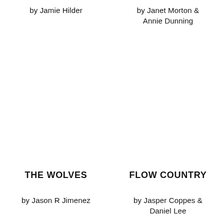by Jamie Hilder
by Janet Morton &
Annie Dunning
THE WOLVES
by Jason R Jimenez
FLOW COUNTRY
by Jasper Coppes &
Daniel Lee